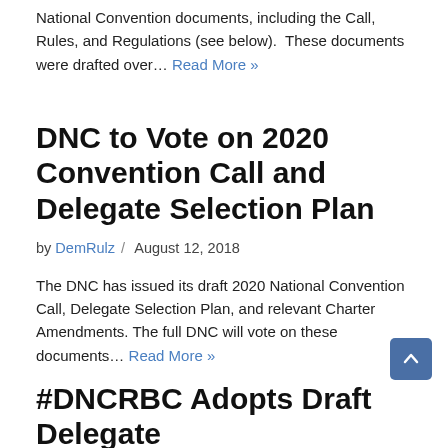National Convention documents, including the Call, Rules, and Regulations (see below).  These documents were drafted over… Read More »
DNC to Vote on 2020 Convention Call and Delegate Selection Plan
by DemRulz / August 12, 2018
The DNC has issued its draft 2020 National Convention Call, Delegate Selection Plan, and relevant Charter Amendments. The full DNC will vote on these documents… Read More »
#DNCRBC Adopts Draft Delegate